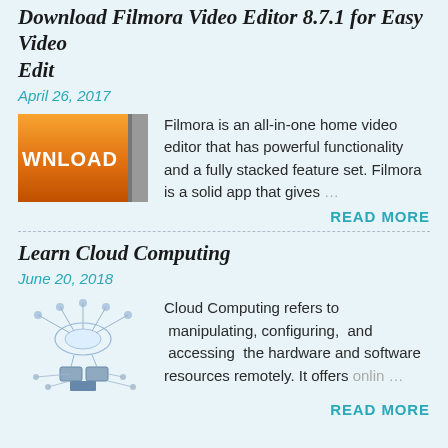Download Filmora Video Editor 8.7.1 for Easy Video Edit
April 26, 2017
[Figure (screenshot): Orange download button with text DOWNLOAD]
Filmora is an all-in-one home video editor that has powerful functionality and a fully stacked feature set. Filmora is a solid app that gives …
READ MORE
Learn Cloud Computing
June 20, 2018
[Figure (illustration): Cloud computing network diagram showing connected computers and servers]
Cloud Computing refers to  manipulating, configuring,  and  accessing  the hardware and software resources remotely. It offers onlin …
READ MORE